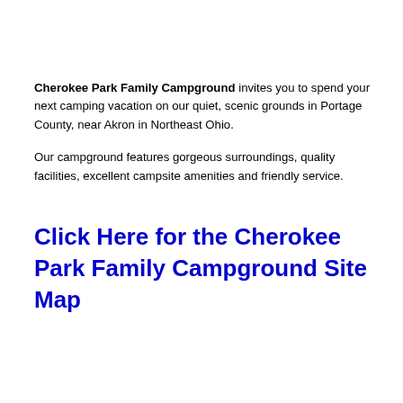Cherokee Park Family Campground invites you to spend your next camping vacation on our quiet, scenic grounds in Portage County, near Akron in Northeast Ohio.
Our campground features gorgeous surroundings, quality facilities, excellent campsite amenities and friendly service.
Click Here for the Cherokee Park Family Campground Site Map